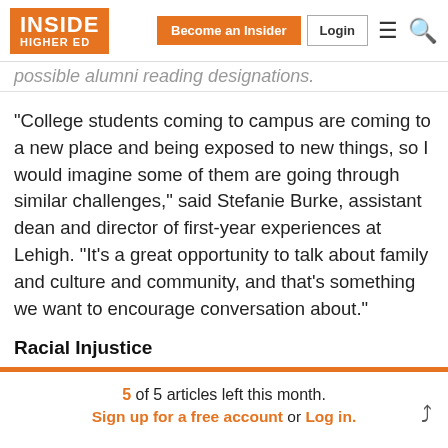INSIDE HIGHER ED | Become an Insider | Login
possible alumni reading designations.
“College students coming to campus are coming to a new place and being exposed to new things, so I would imagine some of them are going through similar challenges,” said Stefanie Burke, assistant dean and director of first-year experiences at Lehigh. “It’s a great opportunity to talk about family and culture and community, and that’s something we want to encourage conversation about.”
Racial Injustice
5 of 5 articles left this month. Sign up for a free account or Log in.